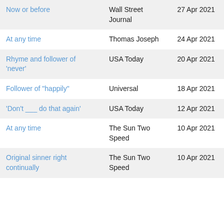| Now or before | Wall Street Journal | 27 Apr 2021 |
| At any time | Thomas Joseph | 24 Apr 2021 |
| Rhyme and follower of 'never' | USA Today | 20 Apr 2021 |
| Follower of "happily" | Universal | 18 Apr 2021 |
| 'Don't ___ do that again' | USA Today | 12 Apr 2021 |
| At any time | The Sun Two Speed | 10 Apr 2021 |
| Original sinner right continually | The Sun Two Speed | 10 Apr 2021 |